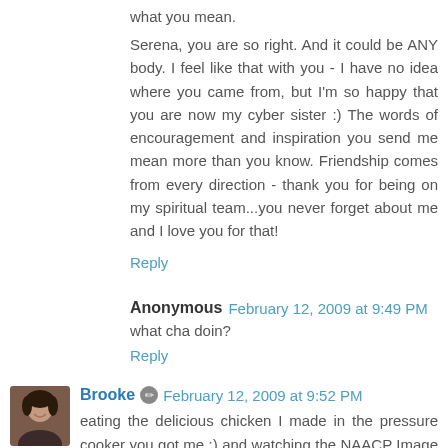what you mean.
Serena, you are so right. And it could be ANY body. I feel like that with you - I have no idea where you came from, but I'm so happy that you are now my cyber sister :) The words of encouragement and inspiration you send me mean more than you know. Friendship comes from every direction - thank you for being on my spiritual team...you never forget about me and I love you for that!
Reply
Anonymous  February 12, 2009 at 9:49 PM
what cha doin?
Reply
[Figure (photo): Avatar photo of Brooke - a woman with dark hair smiling]
Brooke  February 12, 2009 at 9:52 PM
eating the delicious chicken I made in the pressure cooker you got me :) and watching the NAACP Image Awards :-)
Reply